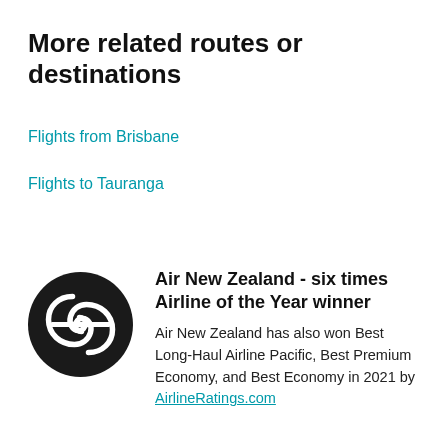More related routes or destinations
Flights from Brisbane
Flights to Tauranga
Air New Zealand - six times Airline of the Year winner
[Figure (logo): Air New Zealand circular black logo with stylized koru/fern symbol]
Air New Zealand has also won Best Long-Haul Airline Pacific, Best Premium Economy, and Best Economy in 2021 by AirlineRatings.com